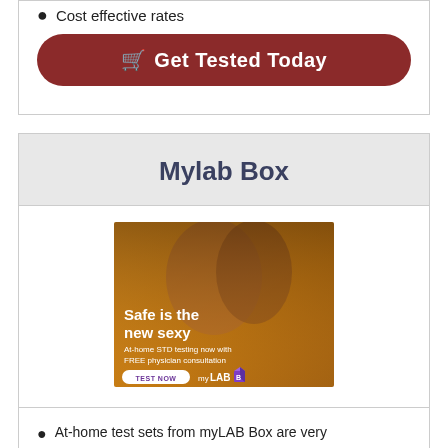Cost effective rates
Get Tested Today
Mylab Box
[Figure (photo): Advertisement image for myLAB Box showing a couple, with text 'Safe is the new sexy', 'At-home STD testing now with FREE physician consultation', and a 'TEST NOW' button with the myLAB Box logo.]
At-home test sets from myLAB Box are very